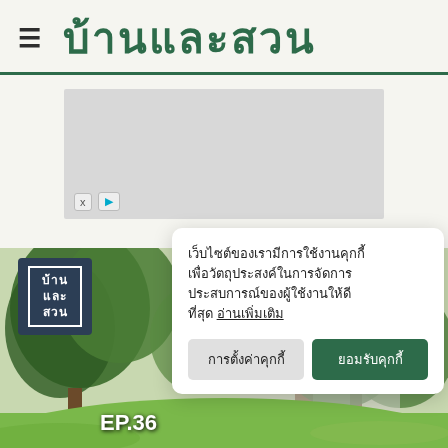บ้านและสวน
[Figure (screenshot): Gray advertisement placeholder area with X and play button icons]
เว็บไซต์ของเรามีการใช้งานคุกกี้เพื่อวัตถุประสงค์ในการจัดการประสบการณ์ของผู้ใช้งานให้ดีที่สุด อ่านเพิ่มเติม
การตั้งค่าคุกกี้
ยอมรับคุกกี้
[Figure (photo): Garden scene with trees, green lawn, and a logo overlay showing บ้านและสวน with EP.36 text]